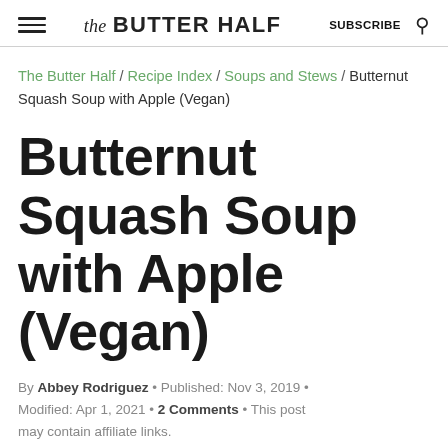the BUTTER HALF  SUBSCRIBE
The Butter Half / Recipe Index / Soups and Stews / Butternut Squash Soup with Apple (Vegan)
Butternut Squash Soup with Apple (Vegan)
By Abbey Rodriguez • Published: Nov 3, 2019 • Modified: Apr 1, 2021 • 2 Comments • This post may contain affiliate links.